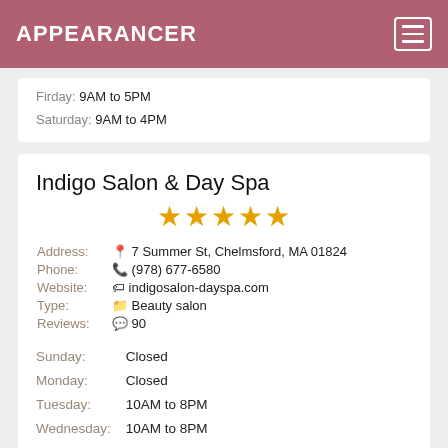APPEARANCER
Firday: 9AM to 5PM
Saturday: 9AM to 4PM
Indigo Salon & Day Spa
[Figure (other): 5 gold stars rating]
Address: 7 Summer St, Chelmsford, MA 01824
Phone: (978) 677-6580
Website: indigosalon-dayspa.com
Type: Beauty salon
Reviews: 90
Sunday: Closed
Monday: Closed
Tuesday: 10AM to 8PM
Wednesday: 10AM to 8PM
Thursday: 10AM to 8PM
Firday: 10AM to 6PM
Saturday: 8AM to 4PM